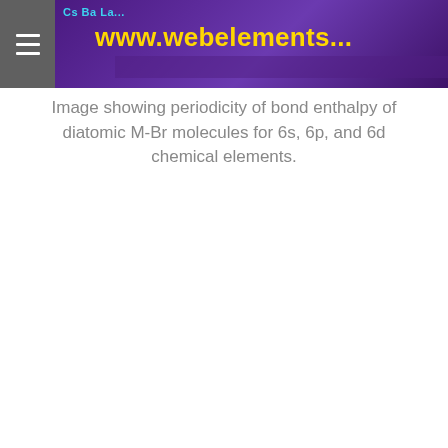[Figure (screenshot): Cropped banner image from webelements.com showing a purple/dark background with element symbols (Cs, Ba, La...) in blue text and the website URL www.webelements.com in yellow text, partially cropped at the top and right edges.]
Image showing periodicity of bond enthalpy of diatomic M-Br molecules for 6s, 6p, and 6d chemical elements.